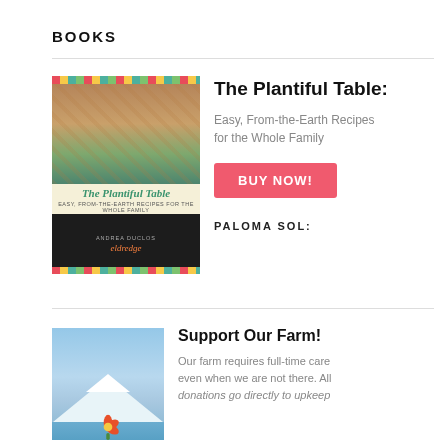BOOKS
[Figure (photo): Cover of 'The Plantiful Table' cookbook showing colorful food photos and teal/yellow decorative border]
The Plantiful Table:
Easy, From-the-Earth Recipes for the Whole Family
BUY NOW!
PALOMA SOL:
Support Our Farm!
[Figure (photo): Hand holding orange flowers with mountain lake in background]
Our farm requires full-time care even when we are not there. All donations go directly to upkeep